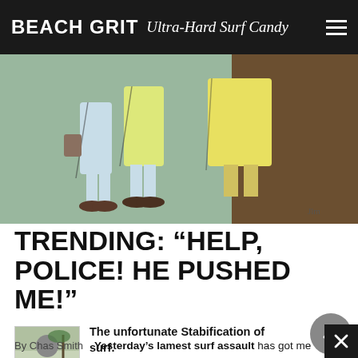BEACH GRIT Ultra-Hard Surf Candy
[Figure (illustration): Sketch illustration of figures with legs and feet visible, wearing light-colored clothing, against a sage green and dark brown background. Artist signature visible in lower right.]
TRENDING: “HELP, POLICE! HE PUSHED ME!”
The unfortunate Stabification of surf.
By Chas Smith
Yesterday’s lamest surf assault has got me